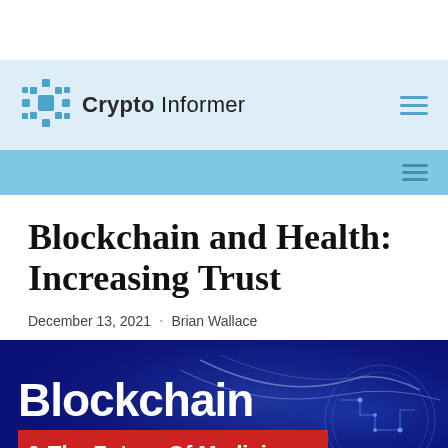Crypto Informer
Blockchain and Health: Increasing Trust
December 13, 2021  ·  Brian Wallace
[Figure (illustration): Promotional banner image with text 'Blockchain & The Future Of Medicine' on a dark blue background with glowing circuit/brain imagery]